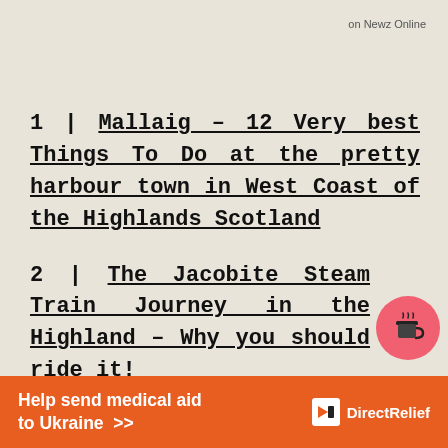on Newz Online
1 | Mallaig – 12 Very best Things To Do at the pretty harbour town in West Coast of the Highlands Scotland
2 | The Jacobite Steam Train Journey in the Highland – Why you should ride it!
Help send medical aid to Ukraine >>  DirectRelief